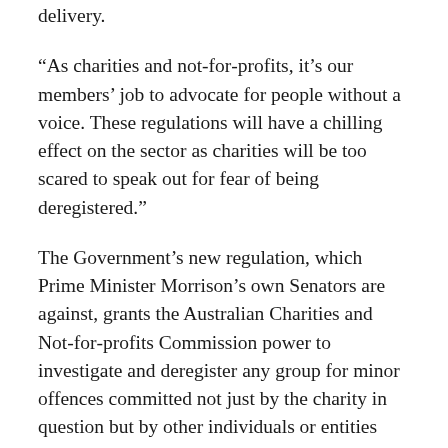delivery.
“As charities and not-for-profits, it’s our members’ job to advocate for people without a voice. These regulations will have a chilling effect on the sector as charities will be too scared to speak out for fear of being deregistered.”
The Government’s new regulation, which Prime Minister Morrison’s own Senators are against, grants the Australian Charities and Not-for-profits Commission power to investigate and deregister any group for minor offences committed not just by the charity in question but by other individuals or entities that are only loosely connected with the charity.
A recent report by a Liberal chaired Senate oversight committee questioning these new